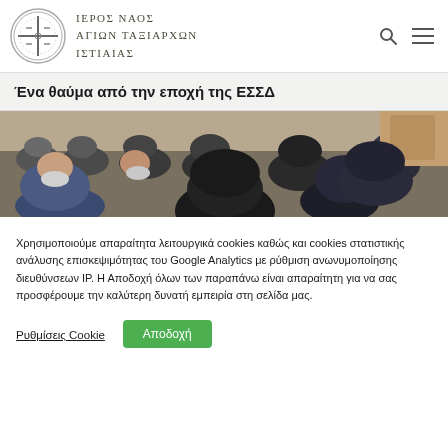ΙΕΡΟΣ ΝΑΟΣ ΑΓΙΩΝ ΤΑΞΙΑΡΧΩΝ ΙΣΤΙΑΙΑΣ
Ένα θαύμα από την εποχή της ΕΣΣΔ
[Figure (photo): Group of Orthodox clergy and faithful seated inside a church, viewed from behind, wearing black vestments and hats]
Χρησιμοποιούμε απαραίτητα λειτουργικά cookies καθώς και cookies στατιστικής ανάλυσης επισκεψιμότητας του Google Analytics με ρύθμιση ανωνυμοποίησης διευθύνσεων IP. Η Αποδοχή όλων των παραπάνω είναι απαραίτητη για να σας προσφέρουμε την καλύτερη δυνατή εμπειρία στη σελίδα μας.
Ρυθμίσεις Cookie
Αποδοχή